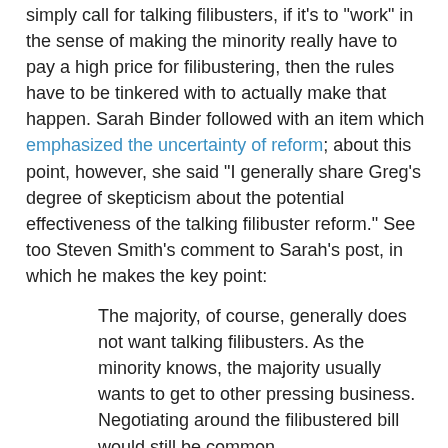simply call for talking filibusters, if it's to "work" in the sense of making the minority really have to pay a high price for filibustering, then the rules have to be tinkered with to actually make that happen. Sarah Binder followed with an item which emphasized the uncertainty of reform; about this point, however, she said "I generally share Greg's degree of skepticism about the potential effectiveness of the talking filibuster reform." See too Steven Smith's comment to Sarah's post, in which he makes the key point:
The majority, of course, generally does not want talking filibusters. As the minority knows, the majority usually wants to get to other pressing business. Negotiating around the filibustered bill would still be common.
That's really what it all comes down to, and why Smith concludes that it's "quite uncertain" whether these reforms would "reduce filibustering."
Now, I don't want to simply argue from authority, but for those outside the field: these are perhaps the three top scholars of Congressional floor procedures in general and